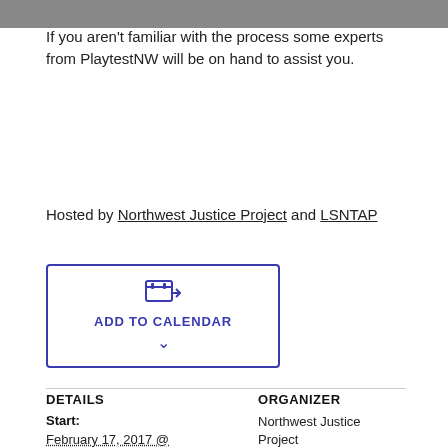will be materials to create your board or card games. If you aren't familiar with the process some experts from PlaytestNW will be on hand to assist you.
Hosted by Northwest Justice Project and LSNTAP
[Figure (other): ADD TO CALENDAR button with calendar icon and chevron, inside a blue-bordered rounded rectangle]
DETAILS
Start:
February 17, 2017 @ 8:00 am
ORGANIZER
Northwest Justice Project
View Organizer Website